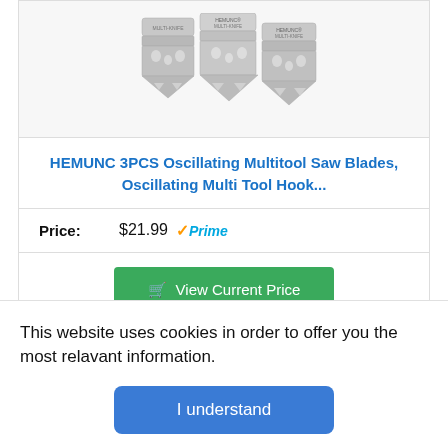[Figure (photo): Three HEMUNC Multi-Knife oscillating multitool saw blades arranged overlapping, metallic silver color with decorative cutouts]
HEMUNC 3PCS Oscillating Multitool Saw Blades, Oscillating Multi Tool Hook...
Price: $21.99 ✓Prime
View Current Price
This website uses cookies in order to offer you the most relavant information.
I understand